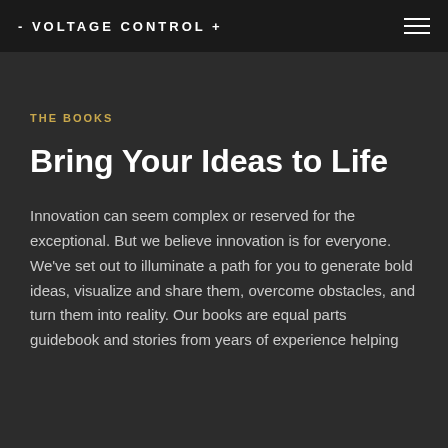- VOLTAGE CONTROL +
THE BOOKS
Bring Your Ideas to Life
Innovation can seem complex or reserved for the exceptional. But we believe innovation is for everyone. We've set out to illuminate a path for you to generate bold ideas, visualize and share them, overcome obstacles, and turn them into reality. Our books are equal parts guidebook and stories from years of experience helping